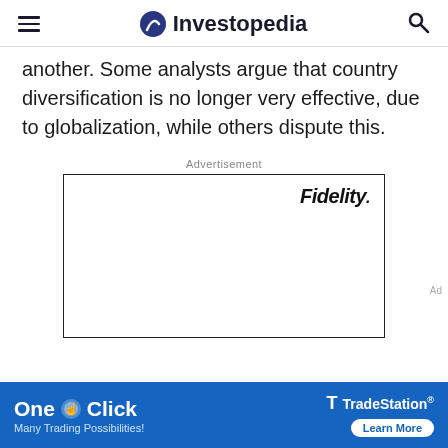Investopedia
another. Some analysts argue that country diversification is no longer very effective, due to globalization, while others dispute this.
Advertisement
[Figure (other): Fidelity advertisement box with Fidelity logo in top right corner]
[Figure (other): TradeStation bottom banner ad: 'One Click - Many Trading Possibilities!' with TradeStation logo and Learn More button]